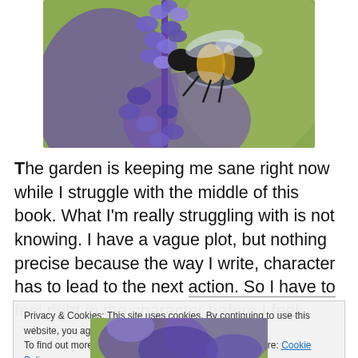[Figure (photo): Close-up photograph of a bumblebee on purple lavender flowers against a blurred green background]
The garden is keeping me sane right now while I struggle with the middle of this book. What I'm really struggling with is not knowing. I have a vague plot, but nothing precise because the way I write, character has to lead to the next action. So I have to feel right in the character before I feel
Privacy & Cookies: This site uses cookies. By continuing to use this website, you agree to their use.
To find out more, including how to control cookies, see here: Cookie Policy
[Figure (photo): Partial view of purple lavender flowers, bottom of page]